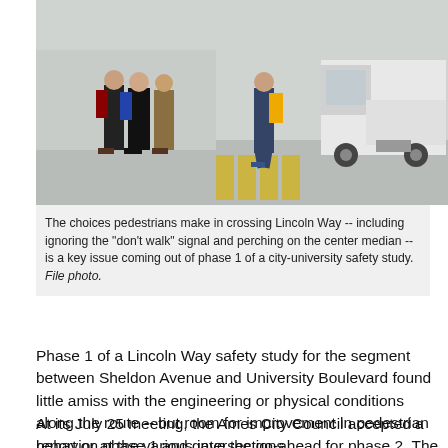[Figure (photo): Pedestrians crossing Lincoln Way, some standing at a crosswalk with yellow markings, with a white truck in the background. People are wearing backpacks; the setting appears to be near a university campus.]
The choices pedestrians make in crossing Lincoln Way -- including ignoring the "don't walk" signal and perching on the center median -- is a key issue coming out of phase 1 of a city-university safety study. File photo.
Phase 1 of a Lincoln Way safety study for the segment between Sheldon Avenue and University Boulevard found little amiss with the engineering or physical conditions along the route -- but room for improvement in pedestrian behavior at the various intersections.
At its July 25 meeting, the Ames City Council accepted a report on phase 1 and gave the go-ahead for phase 2. The city and Iowa State are splitting the cost of the study -- about $80,000 total for phase 1, and up to $50,000 for...